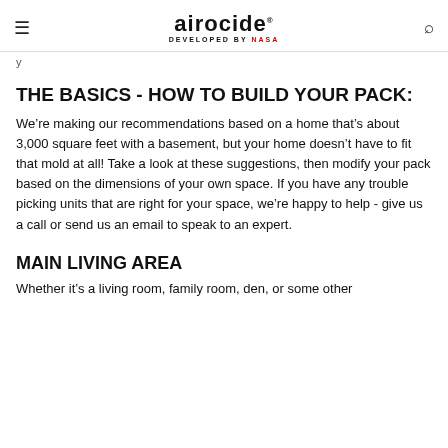airocide DEVELOPED BY NASA
y
THE BASICS - HOW TO BUILD YOUR PACK:
We’re making our recommendations based on a home that’s about 3,000 square feet with a basement, but your home doesn’t have to fit that mold at all! Take a look at these suggestions, then modify your pack based on the dimensions of your own space. If you have any trouble picking units that are right for your space, we’re happy to help - give us a call or send us an email to speak to an expert.
MAIN LIVING AREA
Whether it’s a living room, family room, den, or some other